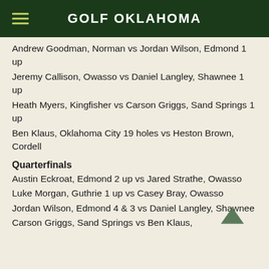GOLF OKLAHOMA
Andrew Goodman, Norman vs Jordan Wilson, Edmond 1 up
Jeremy Callison, Owasso vs Daniel Langley, Shawnee 1 up
Heath Myers, Kingfisher vs Carson Griggs, Sand Springs 1 up
Ben Klaus, Oklahoma City 19 holes vs Heston Brown, Cordell
Quarterfinals
Austin Eckroat, Edmond 2 up vs Jared Strathe, Owasso
Luke Morgan, Guthrie 1 up vs Casey Bray, Owasso
Jordan Wilson, Edmond 4 & 3 vs Daniel Langley, Shawnee
Carson Griggs, Sand Springs vs Ben Klaus,